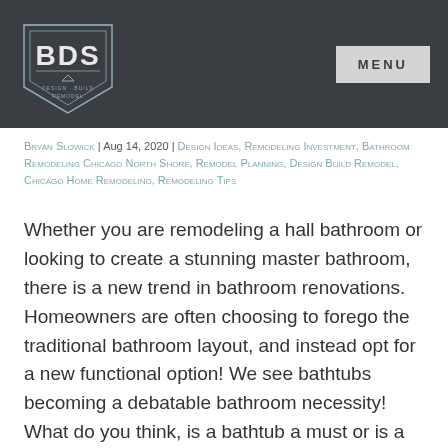[Figure (logo): BDS Design Build Remodel logo — shield shape with 'BDS' in large letters and 'DESIGN · BUILD REMODEL' below, on dark background]
MENU
Bryan Slowick | Aug 14, 2020 | Design Ideas, Remodeling Investment, Bathroom Remodeling Chicago North Shore, Remodel Planning, Design Build Remodel, Chicago Home Remodeling, Remodeling Tips
Whether you are remodeling a hall bathroom or looking to create a stunning master bathroom, there is a new trend in bathroom renovations. Homeowners are often choosing to forego the traditional bathroom layout, and instead opt for a new functional option! We see bathtubs becoming a debatable bathroom necessity! What do you think, is a bathtub a must or is a large walk-in shower something you dream of?